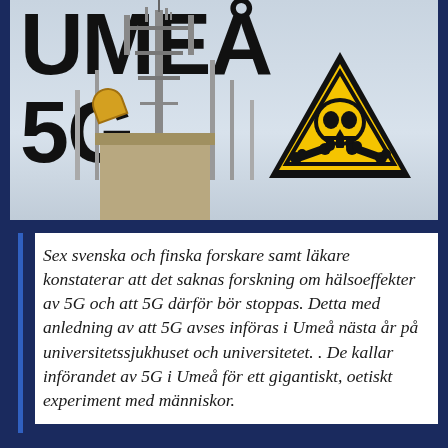UMEÅ 5G
[Figure (photo): Photo of telecommunications tower/mast with multiple antennas against a grey sky, with a large yellow and black hazard warning sign (skull and crossbones) overlaid on the right side]
Sex svenska och finska forskare samt läkare konstaterar att det saknas forskning om hälsoeffekter av 5G och att 5G därför bör stoppas. Detta med anledning av att 5G avses införas i Umeå nästa år på universitetssjukhuset och universitetet. . De kallar införandet av 5G i Umeå för ett gigantiskt, oetiskt experiment med människor.